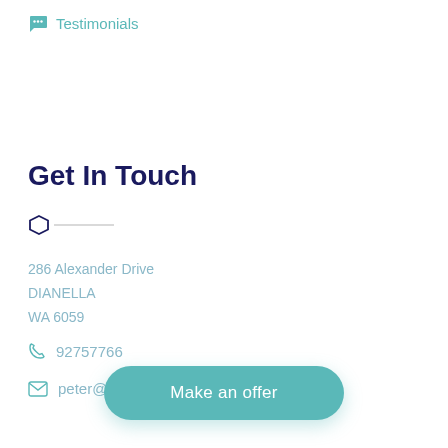Testimonials
Get In Touch
286 Alexander Drive
DIANELLA
WA 6059
92757766
peter@gestrealestate.com.au
Make an offer